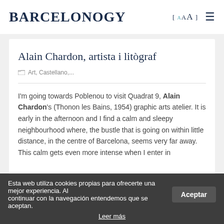BARCELONOGY
Alain Chardon, artista i litògraf
Art, Castellano,...
I'm going towards Poblenou to visit Quadrat 9, Alain Chardon's (Thonon les Bains, 1954) graphic arts atelier. It is early in the afternoon and I find a calm and sleepy neighbourhood where, the bustle that is going on within little distance, in the centre of Barcelona, seems very far away. This calm gets even more intense when I enter in
Esta web utiliza cookies propias para ofrecerte una mejor experiencia. Al continuar con la navegación entendemos que se aceptan.
Leer más